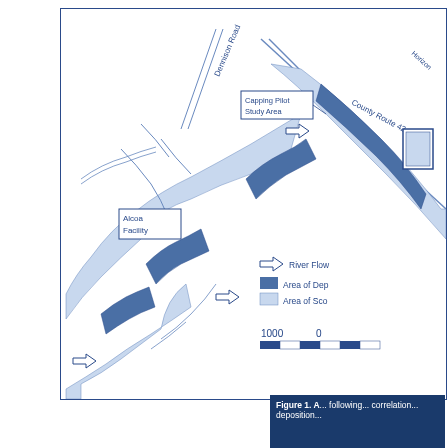[Figure (map): River corridor map showing Alcoa Facility area with Dennison Road and County Route 42 labeled. Shows river flow direction arrows, Area of Deposition (dark blue), Area of Scour (light blue), Capping Pilot Study Area labeled with box, and Alcoa Facility labeled. Scale bar showing 1000 and 0 markers. Legend with River Flow arrow, Area of Deposition, Area of Scour.]
Figure 1. ... following ... correlation ... deposition...